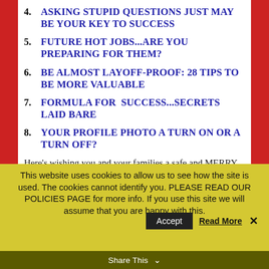4. ASKING STUPID QUESTIONS JUST MAY BE YOUR KEY TO SUCCESS
5. FUTURE HOT JOBS...ARE YOU PREPARING FOR THEM?
6. BE ALMOST LAYOFF-PROOF: 28 TIPS TO BE MORE VALUABLE
7. FORMULA FOR  SUCCESS...SECRETS LAID BARE
8. YOUR PROFILE PHOTO A TURN ON OR A TURN OFF?
Here’s wishing you and your families a safe and MERRY CHRISTMAS. May GOD show peace, mercy, and
This website uses cookies to allow us to see how the site is used. The cookies cannot identify you. PLEASE READ OUR POLICIES PAGE for more info. If you use this site we will assume that you are happy with this.
Share This